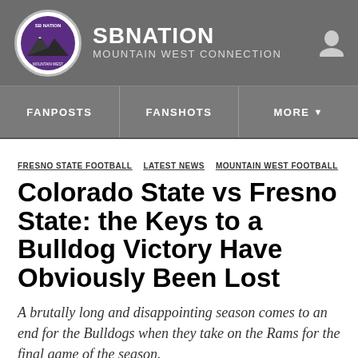SB NATION — MOUNTAIN WEST CONNECTION
FANPOSTS   FANSHOTS   MORE
FRESNO STATE FOOTBALL  LATEST NEWS  MOUNTAIN WEST FOOTBALL
Colorado State vs Fresno State: the Keys to a Bulldog Victory Have Obviously Been Lost
A brutally long and disappointing season comes to an end for the Bulldogs when they take on the Rams for the final game of the season.
By Scott Triernan | Nov 27, 2015, 4:51am PST